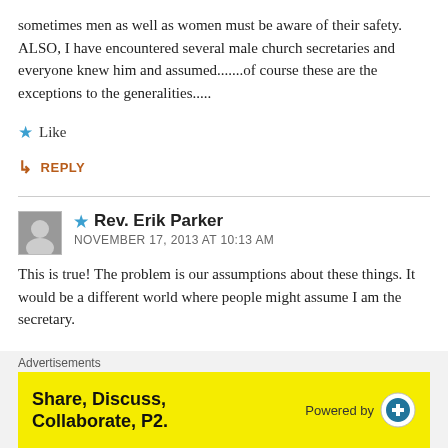sometimes men as well as women must be aware of their safety. ALSO, I have encountered several male church secretaries and everyone knew him and assumed.......of course these are the exceptions to the generalities.....
★ Like
↳ REPLY
★ Rev. Erik Parker
NOVEMBER 17, 2013 AT 10:13 AM
This is true! The problem is our assumptions about these things. It would be a different world where people might assume I am the secretary.
Advertisements
Share, Discuss, Collaborate, P2.
Powered by